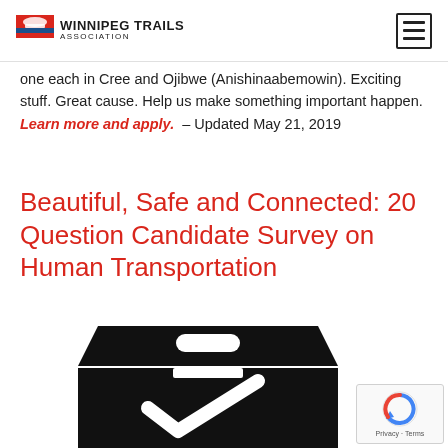Winnipeg Trails Association
one each in Cree and Ojibwe (Anishinaabemowin). Exciting stuff. Great cause. Help us make something important happen. Learn more and apply. – Updated May 21, 2019
Beautiful, Safe and Connected: 20 Question Candidate Survey on Human Transportation
[Figure (illustration): Black silhouette of a ballot box with a checkmark, partially cropped at bottom of page]
[Figure (logo): reCAPTCHA badge with Privacy and Terms text]